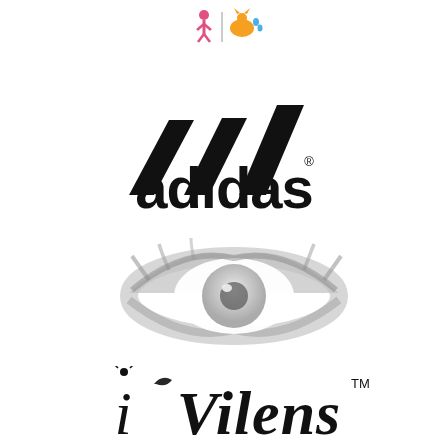[Figure (logo): Small colorful icon logo at top center showing two figures (person and animal) with pink and orange colors]
[Figure (logo): Adidas logo: three diagonal black stripes forming a triangle/mountain shape above the word 'adidas' in bold black lowercase with registered trademark symbol]
[Figure (logo): iVilens logo: a grayscale artistic eye illustration above stylized text reading 'i Vilens' with a TM mark, in a decorative handwritten-style font]